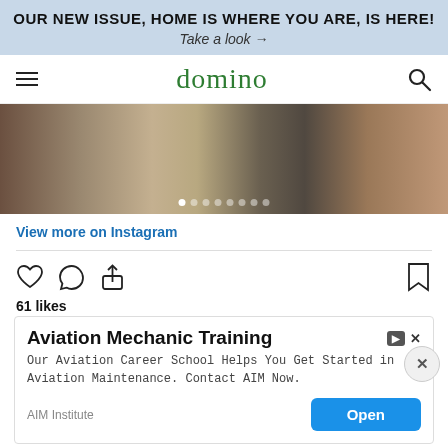OUR NEW ISSUE, HOME IS WHERE YOU ARE, IS HERE!
Take a look →
domino
[Figure (photo): Instagram carousel image showing antique furniture and decor items on a dark floor, with carousel navigation dots at the bottom]
View more on Instagram
[Figure (infographic): Instagram action icons: heart (like), speech bubble (comment), share arrow (left); bookmark icon (right)]
61 likes
theronwarehudson
Really Impressive large scale 19th century photograph of
[Figure (screenshot): Advertisement overlay: Aviation Mechanic Training - Our Aviation Career School Helps You Get Started in Aviation Maintenance. Contact AIM Now. AIM Institute. Open button.]